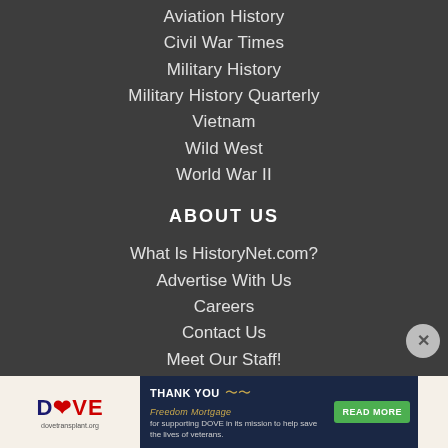Aviation History
Civil War Times
Military History
Military History Quarterly
Vietnam
Wild West
World War II
ABOUT US
What Is HistoryNet.com?
Advertise With Us
Careers
Contact Us
Meet Our Staff!
[Figure (infographic): Advertisement bar at bottom: DOVE logo on left cream background, then dark blue panel with THANK YOU, Freedom Mortgage eagle logo, text about supporting DOVE to save lives of veterans, and READ MORE green button. Cream panel on far right.]